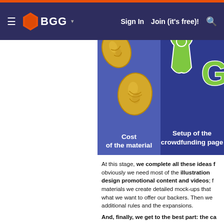BGG — Sign In  Join (it's free)!
[Figure (illustration): Blue banner with two panels: left panel (lighter blue) shows golden bean/seed illustrations and is labeled 'Cost of the material'; right panel (darker blue) shows green cactus/plant token illustrations and is labeled 'Setup of the crowdfunding page']
At this stage, we complete all these ideas fo obviously we need most of the illustration design promotional content and videos; f materials we create detailed mock-ups that what we want to offer our backers. Then we additional rules and the expansions. And, finally, we get to the best part: the ca